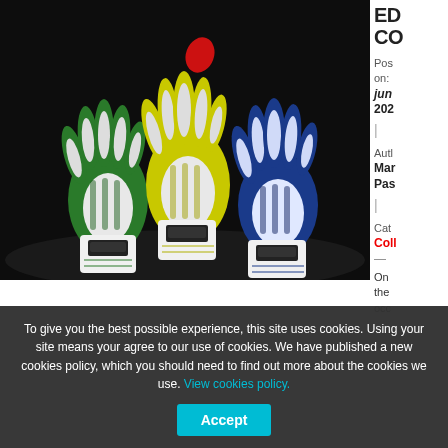[Figure (photo): Three goalkeeper gloves displayed against a dark background — left glove is green/white, center glove is yellow/white, right glove is blue/white, each with a stylized face/mask design on the cuff.]
ED CO
Posted on:
jun 202
| Author: Mar Pas
| Categories: Coll
— On the occ con
To give you the best possible experience, this site uses cookies. Using your site means your agree to our use of cookies. We have published a new cookies policy, which you should need to find out more about the cookies we use. View cookies policy.
Accept